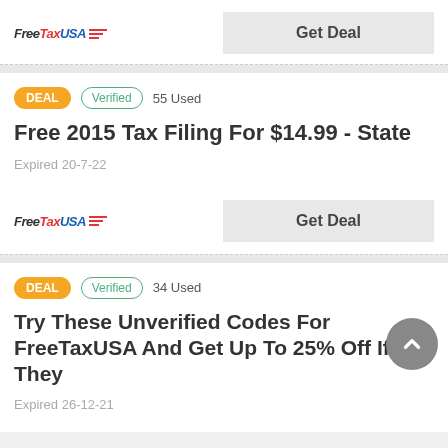[Figure (logo): FreeTaxUSA logo with red and blue text and red horizontal lines]
Get Deal
DEAL   Verified   55 Used
Free 2015 Tax Filing For $14.99 - State
Expired 20-7-22
[Figure (logo): FreeTaxUSA logo with red and blue text and red horizontal lines]
Get Deal
DEAL   Verified   34 Used
Try These Unverified Codes For FreeTaxUSA And Get Up To 25% Off If They
Expired 26-12-21